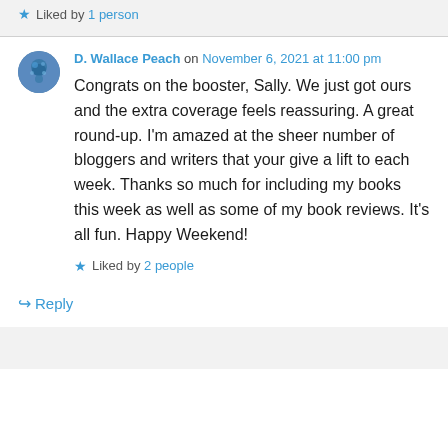Liked by 1 person
D. Wallace Peach on November 6, 2021 at 11:00 pm
Congrats on the booster, Sally. We just got ours and the extra coverage feels reassuring. A great round-up. I'm amazed at the sheer number of bloggers and writers that your give a lift to each week. Thanks so much for including my books this week as well as some of my book reviews. It's all fun. Happy Weekend!
Liked by 2 people
Reply